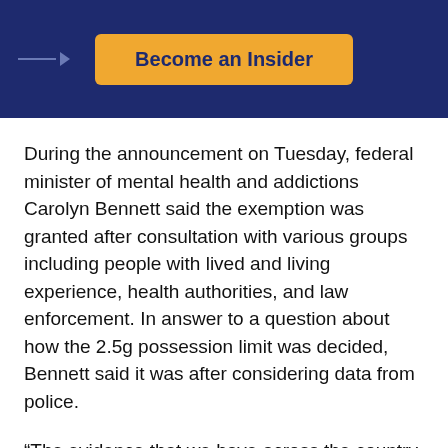[Figure (screenshot): Dark navy blue banner with arrow icon on the left and an orange 'Become an Insider' button in the center]
During the announcement on Tuesday, federal minister of mental health and addictions Carolyn Bennett said the exemption was granted after consultation with various groups including people with lived and living experience, health authorities, and law enforcement. In answer to a question about how the 2.5g possession limit was decided, Bennett said it was after considering data from police.
“The evidence that we have across the country and law enforcement here in BC as well as the RCMP has been that 85% of drugs that have been confiscated have been under 2g,” she said.